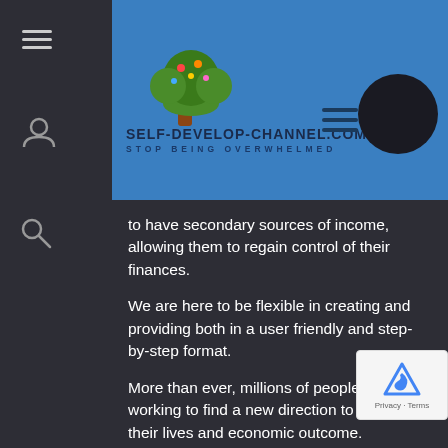[Figure (logo): Self-Develop-Channel.com website header with tree logo and blue background. Tagline: STOP BEING OVERWHELMED]
to have secondary sources of income, allowing them to regain control of their finances.
We are here to be flexible in creating and providing both in a user friendly and step-by-step format.
More than ever, millions of people are working to find a new direction to improve their lives and economic outcome.
Millions turn to YouTube daily; however, most get lost in the sea of so-called related and very distracting videos in their feed and soon up their search.
Generally, they don't know who they should